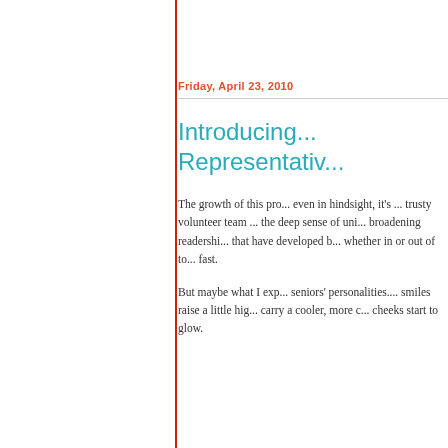Friday, April 23, 2010
Introducing... Representativ...
The growth of this pro... even in hindsight, it's ... trusty volunteer team ... the deep sense of uni... broadening readershi... that have developed b... whether in or out of to... fast.
But maybe what I exp... seniors' personalities.... smiles raise a little hig... carry a cooler, more c... cheeks start to glow.